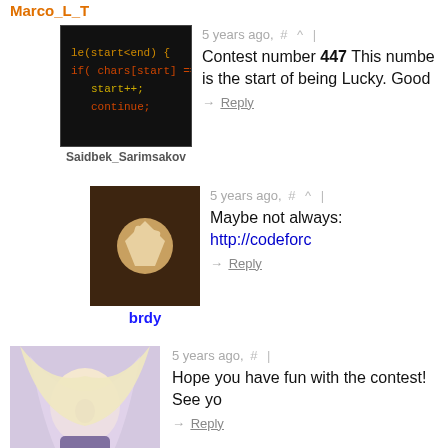Marco_L_T
[Figure (photo): Code snippet avatar for Saidbek_Sarimsakov showing while loop with chars array in dark terminal style]
Saidbek_Sarimsakov
5 years ago,  #  ^  |
Contest number 447 This numbe is the start of being Lucky. Good
→ Reply
[Figure (photo): Avatar photo for brdy showing a hand holding a white geometric/hexagonal shape]
brdy
5 years ago,  #  ^  |
Maybe not always: http://codeforc
→ Reply
[Figure (photo): Anime character avatar for whfym with long light hair]
whfym
5 years ago,  #  |
Hope you have fun with the contest! See yo
→ Reply
[Figure (photo): Partial avatar image at bottom of page for fourth commenter]